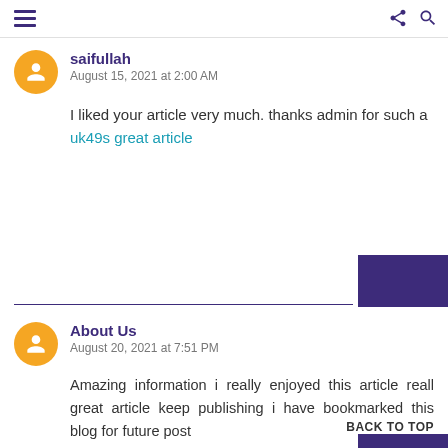Navigation bar with hamburger menu, share icon, and search icon
saifullah
August 15, 2021 at 2:00 AM
I liked your article very much. thanks admin for such a uk49s great article
About Us
August 20, 2021 at 7:51 PM
Amazing information i really enjoyed this article reall great article keep publishing i have bookmarked this blog for future post gossipmouth flippzilla
BACK TO TOP